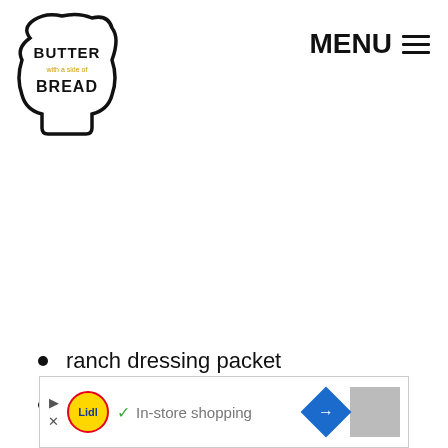[Figure (logo): Butter with a side of Bread logo — stylized toast shape outline with text BUTTER with a side of BREAD]
MENU ☰
ranch dressing packet
shredded cheddar cheese
[Figure (screenshot): Lidl ad banner: play and close buttons, Lidl circular logo, checkmark, In-store shopping text, blue diamond arrow icon, grey box]